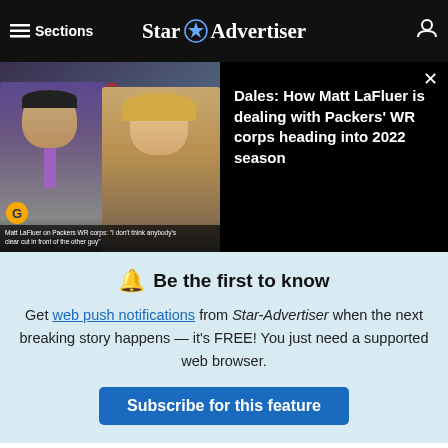≡ Sections   Star Advertiser
[Figure (screenshot): Video thumbnail showing two news anchors, one male on left in suit and one female on right in tan jacket, with overlay text about Matt LaFleur and Packers WR corps]
Dales: How Matt LaFleur is dealing with Packers' WR corps heading into 2022 season
🔔 Be the first to know
Get web push notifications from Star-Advertiser when the next breaking story happens — it's FREE! You just need a supported web browser.
Subscribe for this feature
[Figure (photo): Partial photo strip showing outdoor scene with trees and fence]
ℹ Our Privacy Policy has been updated. By continuing to use our site, you are acknowledging and agreeing to our updated Privacy Policy and our Terms of Service. I Agree